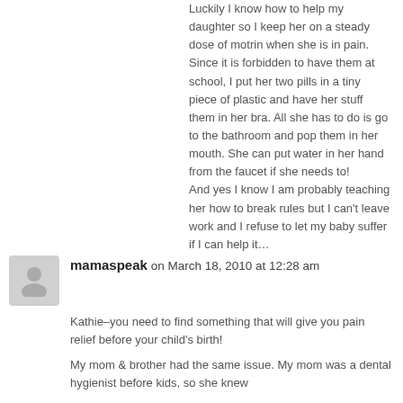Luckily I know how to help my daughter so I keep her on a steady dose of motrin when she is in pain. Since it is forbidden to have them at school, I put her two pills in a tiny piece of plastic and have her stuff them in her bra. All she has to do is go to the bathroom and pop them in her mouth. She can put water in her hand from the faucet if she needs to! And yes I know I am probably teaching her how to break rules but I can't leave work and I refuse to let my baby suffer if I can help it…
mamaspeak on March 18, 2010 at 12:28 am
Kathie–you need to find something that will give you pain relief before your child's birth!
My mom & brother had the same issue. My mom was a dental hygienist before kids, so she knew